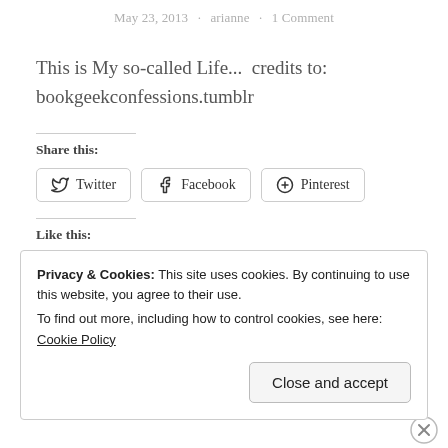May 23, 2013 · arianne · 1 Comment
This is My so-called Life...  credits to: bookgeekconfessions.tumblr
Share this:
Twitter   Facebook   Pinterest
Like this:
Privacy & Cookies: This site uses cookies. By continuing to use this website, you agree to their use.
To find out more, including how to control cookies, see here: Cookie Policy